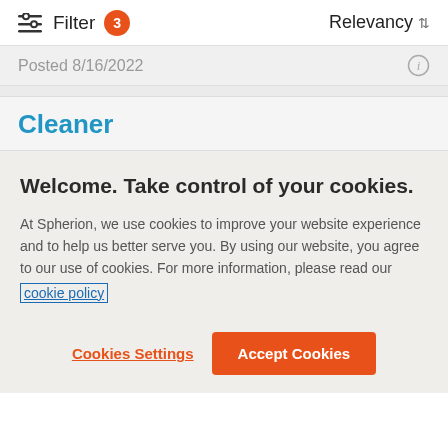Filter 3   Relevancy
Posted 8/16/2022
Cleaner
Welcome. Take control of your cookies.
At Spherion, we use cookies to improve your website experience and to help us better serve you. By using our website, you agree to our use of cookies. For more information, please read our cookie policy
Cookies Settings   Accept Cookies